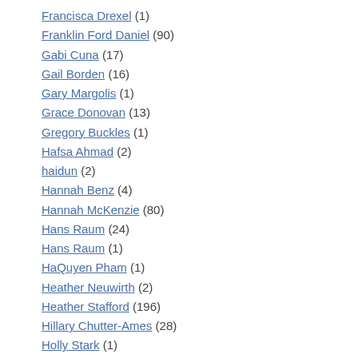Francisca Drexel (1)
Franklin Ford Daniel (90)
Gabi Cuna (17)
Gail Borden (16)
Gary Margolis (1)
Grace Donovan (13)
Gregory Buckles (1)
Hafsa Ahmad (2)
haidun (2)
Hannah Benz (4)
Hannah McKenzie (80)
Hans Raum (24)
Hans Raum (1)
HaQuyen Pham (1)
Heather Neuwirth (2)
Heather Stafford (196)
Hillary Chutter-Ames (28)
Holly Stark (1)
bolzanfe@middlebury.edu (1)